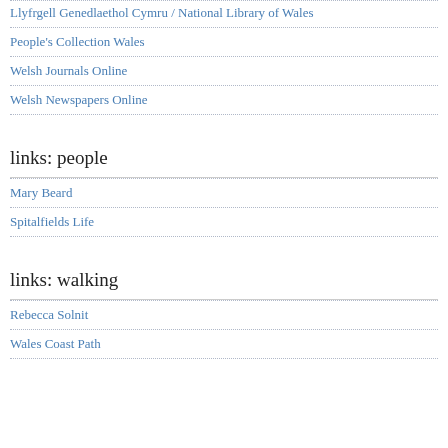Llyfrgell Genedlaethol Cymru / National Library of Wales
People's Collection Wales
Welsh Journals Online
Welsh Newspapers Online
links: people
Mary Beard
Spitalfields Life
links: walking
Rebecca Solnit
Wales Coast Path